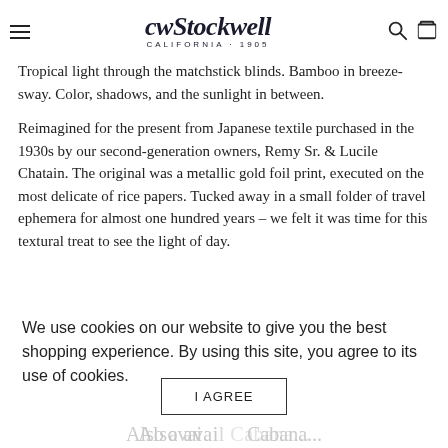cw Stockwell CALIFORNIA·1905
Tropical light through the matchstick blinds. Bamboo in breeze-sway. Color, shadows, and the sunlight in between.
Reimagined for the present from Japanese textile purchased in the 1930s by our second-generation owners, Remy Sr. & Lucile Chatain. The original was a metallic gold foil print, executed on the most delicate of rice papers. Tucked away in a small folder of travel ephemera for almost one hundred years – we felt it was time for this textural treat to see the light of day.
We use cookies on our website to give you the best shopping experience. By using this site, you agree to its use of cookies.
Also avai... Cabana...